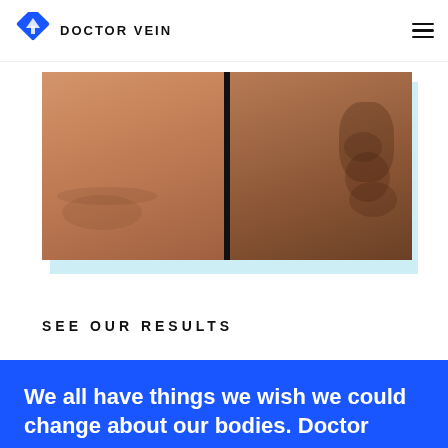DOCTOR VEIN
[Figure (photo): Before and after comparison photo showing a leg with varicose veins (right side) and a treated/normal leg (left side). Split image with a dark divider in the center.]
SEE OUR RESULTS
We all have things we wish we could change about our bodies. Doctor